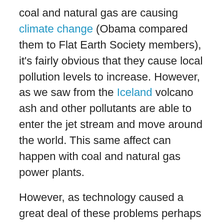coal and natural gas are causing climate change (Obama compared them to Flat Earth Society members), it's fairly obvious that they cause local pollution levels to increase. However, as we saw from the Iceland volcano ash and other pollutants are able to enter the jet stream and move around the world. This same affect can happen with coal and natural gas power plants.
However, as technology caused a great deal of these problems perhaps it can fix them. One of the first technologies that we should look at is captured carbon sequestering (CCS), which I've discussed before. This could help remove the excess carbon in the atmosphere now. However, there are risks it does reduce housing values and can leak to the surface in a similar manner as smoke from a coal fire. However, there has been success in countries like Iceland. While this is small